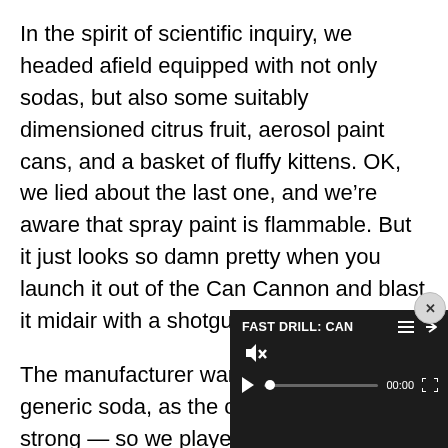In the spirit of scientific inquiry, we headed afield equipped with not only sodas, but also some suitably dimensioned citrus fruit, aerosol paint cans, and a basket of fluffy kittens. OK, we lied about the last one, and we're aware that spray paint is flammable. But it just looks so damn pretty when you launch it out of the Can Cannon and blast it midair with a shotgun.
The manufacturer warns against using generic soda, as the cans are not as strong — so we played it safe with only the fructose corn syrup solution 45-degree angle, we had r 12-ounce can 100 yards d
[Figure (screenshot): Video player overlay with dark background showing 'FAST DRILL: CAN' title, muted speaker icon, play button, progress bar with dot, timestamp 00:00, and fullscreen icon. Has a close button (x) in top right.]